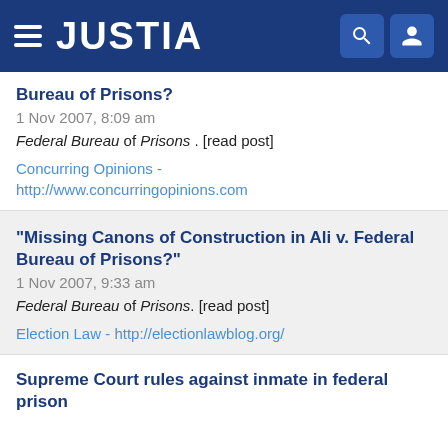JUSTIA
Bureau of Prisons?
1 Nov 2007, 8:09 am
Federal Bureau of Prisons . [read post]
Concurring Opinions - http://www.concurringopinions.com
"Missing Canons of Construction in Ali v. Federal Bureau of Prisons?"
1 Nov 2007, 9:33 am
Federal Bureau of Prisons. [read post]
Election Law - http://electionlawblog.org/
Supreme Court rules against inmate in federal prison